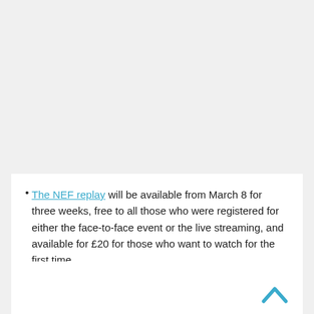The NEF replay will be available from March 8 for three weeks, free to all those who were registered for either the face-to-face event or the live streaming, and available for £20 for those who want to watch for the first time.